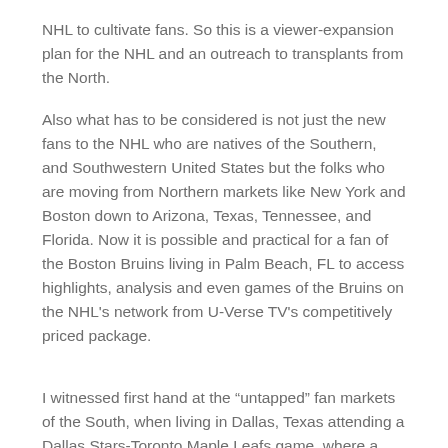NHL to cultivate fans. So this is a viewer-expansion plan for the NHL and an outreach to transplants from the North.
Also what has to be considered is not just the new fans to the NHL who are natives of the Southern, and Southwestern United States but the folks who are moving from Northern markets like New York and Boston down to Arizona, Texas, Tennessee, and Florida. Now it is possible and practical for a fan of the Boston Bruins living in Palm Beach, FL to access highlights, analysis and even games of the Bruins on the NHL's network from U-Verse TV's competitively priced package.
I witnessed first hand at the “untapped” fan markets of the South, when living in Dallas, Texas attending a Dallas Stars-Toronto Maple Leafs game, where a good third of the fans inside the American Airlines Center was wearing